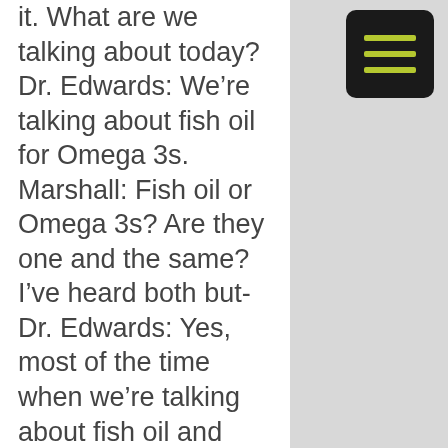it. What are we talking about today? Dr. Edwards: We're talking about fish oil for Omega 3s. Marshall: Fish oil or Omega 3s? Are they one and the same? I've heard both but- Dr. Edwards: Yes, most of the time when we're talking about fish oil and we're talking about Omega 3s, you can basically use them synonymously, but we're going to get into why I'm being a little bit hesitant on saying that. It's